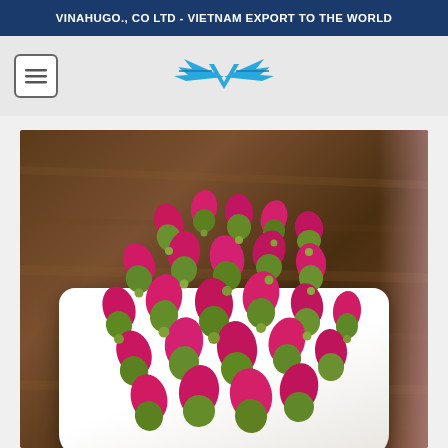VINAHUGO., CO LTD - VIETNAM EXPORT TO THE WORLD
[Figure (logo): Vinahugo company logo — a stylized blue eagle/wings mark with a V shape in the center, displayed in the navigation bar]
[Figure (photo): Close-up photo of dried rose buds (pink/magenta petals with green sepals) piled on a white rectangular plate, against a dark wooden background. Used as a product photo for Vinahugo export company.]